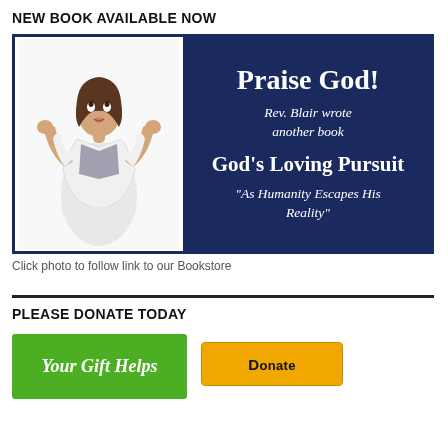NEW BOOK AVAILABLE NOW
[Figure (illustration): Book advertisement banner with dark navy background. Left side shows a woman in a white jacket with hands raised looking upward. Right side on navy background shows text: Praise God!, Rev. Blair wrote another book, God's Loving Pursuit, "As Humanity Escapes His Reality"]
Click photo to follow link to our Bookstore
PLEASE DONATE TODAY
[Figure (other): Green donation button box reading 'Your Gift Helps' and a yellow PayPal donate button partially visible]